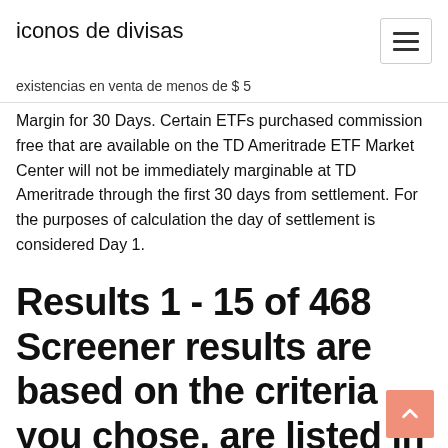iconos de divisas
existencias en venta de menos de $ 5
Margin for 30 Days. Certain ETFs purchased commission free that are available on the TD Ameritrade ETF Market Center will not be immediately marginable at TD Ameritrade through the first 30 days from settlement. For the purposes of calculation the day of settlement is considered Day 1.
Results 1 - 15 of 468 Screener results are based on the criteria you chose, are listed in alphabetical order, are limited to displaying 15 items and should not be